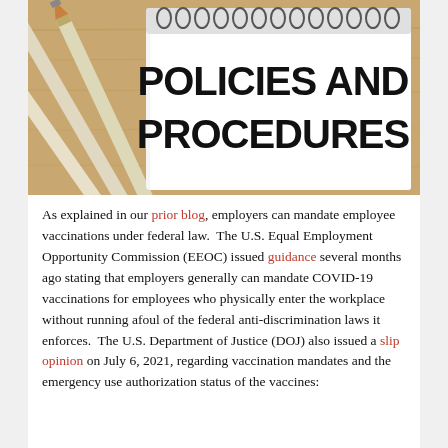[Figure (photo): Photo of a spiral-bound notepad with 'POLICIES AND PROCEDURES' printed in large bold black text, with pencils leaning against it on a wooden surface.]
As explained in our prior blog, employers can mandate employee vaccinations under federal law.  The U.S. Equal Employment Opportunity Commission (EEOC) issued guidance several months ago stating that employers generally can mandate COVID-19 vaccinations for employees who physically enter the workplace without running afoul of the federal anti-discrimination laws it enforces.  The U.S. Department of Justice (DOJ) also issued a slip opinion on July 6, 2021, regarding vaccination mandates and the emergency use authorization status of the vaccines: